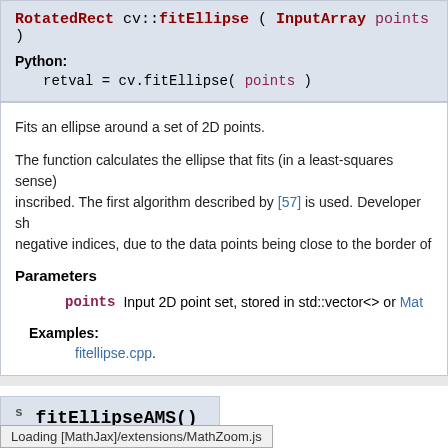RotatedRect cv::fitEllipse ( InputArray points )
Python:
retval = cv.fitEllipse( points )
Fits an ellipse around a set of 2D points.
The function calculates the ellipse that fits (in a least-squares sense) a set of 2D points best of all. It returns the rotated rectangle in which the ellipse is inscribed. The first algorithm described by [57] is used. Developer should keep in mind that it is possible that the returned ellipse/rotatedRect data contains negative indices, due to the data points being close to the border of the containing Mat element.
Parameters
points Input 2D point set, stored in std::vector<> or Mat
Examples:
fitellipse.cpp.
s fitEllipseAMS()
Loading [MathJax]/extensions/MathZoom.js